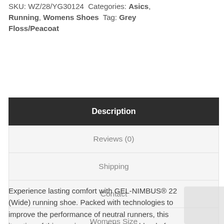SKU: WZ/28/YG30124 Categories: Asics, Running, Womens Shoes Tag: Grey Floss/Peacoat
| Tab |
| --- |
| Description |
| Reviews (0) |
| Shipping |
| Contact |
| Womens Size |
| Mens Size |
Experience lasting comfort with GEL-NIMBUS® 22 (Wide) running shoe. Packed with technologies to improve the performance of neutral runners, this iteration of this running shoe delivers a blend of